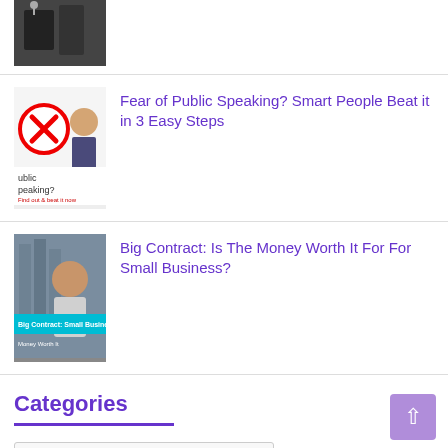[Figure (photo): Partial thumbnail of a person at a podium with microphones]
[Figure (photo): Thumbnail showing a red X circle and a woman gesturing, with text 'ublic peaking?' and small text below]
Fear of Public Speaking? Smart People Beat it in 3 Easy Steps
[Figure (photo): Thumbnail showing a smiling person in a building with text 'Big Contract: Small Businesses']
Big Contract: Is The Money Worth It For For Small Business?
Categories
Select Category